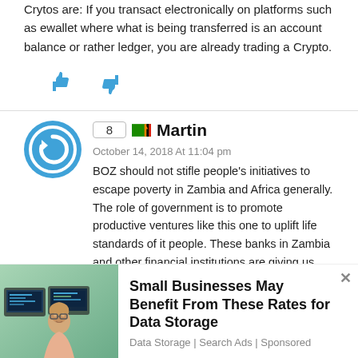Crytos are: If you transact electronically on platforms such as ewallet where what is being transferred is an account balance or rather ledger, you are already trading a Crypto.
[Figure (illustration): Thumbs up and thumbs down icons in blue for voting]
8 Martin October 14, 2018 At 11:04 pm — BOZ should not stifle people's initiatives to escape poverty in Zambia and Africa generally. The role of government is to promote productive ventures like this one to uplift life standards of it people. These banks in Zambia and other financial institutions are giving us peanuts on our investment s and when we get loans from them we pay heavily. Let heritage coin resources ltd be allowed to continue because they are duly registered with pacra and have a comprehensive
[Figure (infographic): Advertisement banner: Small Businesses May Benefit From These Rates for Data Storage — Data Storage | Search Ads | Sponsored]